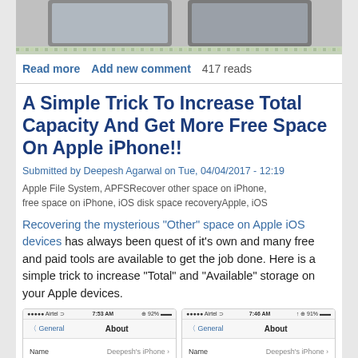[Figure (photo): Top portion of an iPhone screenshot showing two phones side by side, partially visible, with decorative border at bottom]
Read more   Add new comment   417 reads
A Simple Trick To Increase Total Capacity And Get More Free Space On Apple iPhone!!
Submitted by Deepesh Agarwal on Tue, 04/04/2017 - 12:19
Apple File System, APFSRecover other space on iPhone, free space on iPhone, iOS disk space recoveryApple, iOS
Recovering the mysterious "Other" space on Apple iOS devices has always been quest of it's own and many free and paid tools are available to get the job done. Here is a simple trick to increase "Total" and "Available" storage on your Apple devices.
[Figure (screenshot): Two iPhone screenshots side by side showing General > About screen with Name field showing Deepesh's iPhone]